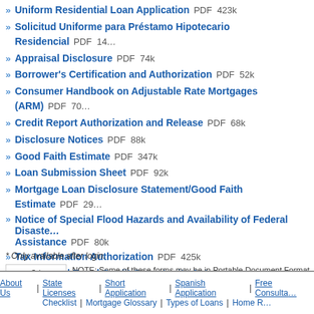Uniform Residential Loan Application  PDF  423k
Solicitud Uniforme para Préstamo Hipotecario Residencial  PDF  14?k
Appraisal Disclosure  PDF  74k
Borrower's Certification and Authorization  PDF  52k
Consumer Handbook on Adjustable Rate Mortgages (ARM)  PDF  70?
Credit Report Authorization and Release  PDF  68k
Disclosure Notices  PDF  88k
Good Faith Estimate  PDF  347k
Loan Submission Sheet  PDF  92k
Mortgage Loan Disclosure Statement/Good Faith Estimate  PDF  29?
Notice of Special Flood Hazards and Availability of Federal Disaster Assistance  PDF  80k
Tax Information Authorization  PDF  425k
The Federal Equal Credit Opportunity Act  PDF  71k
The Housing Financial Discrimination Act of 1977 Fair Lending Not?
Truth in Lending Disclosure Statement (RegZ)  PDF  90k
* Only available after login.
NOTE: Some of these forms may be in Portable Document Format (PDF). You need Adobe Acrobat Reader to view them. To get Adobe Acrobat Reader, click on the Acrobat Reader icon and follow the instructions.
About Us | State Licenses | Short Application | Spanish Application | Free Consulta... | Checklist | Mortgage Glossary | Types of Loans | Home ?